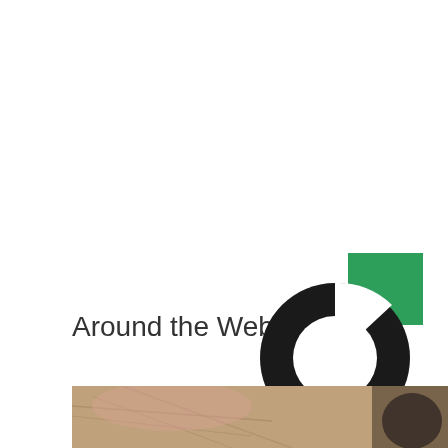Around the Web
[Figure (logo): Circular donut chart logo with a black ring and a green square segment in the upper right, partially overlapping a small grey circle at the bottom right.]
[Figure (photo): Partial photo visible at the bottom of the page showing close-up of what appears to be animal fur or hair.]